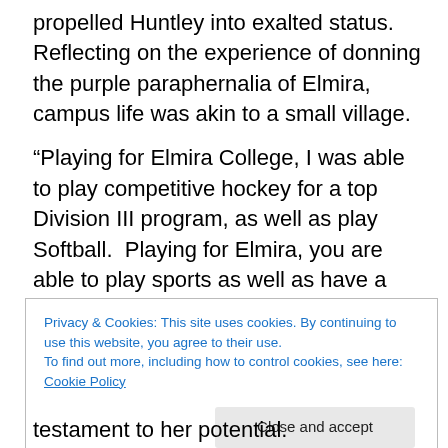propelled Huntley into exalted status. Reflecting on the experience of donning the purple paraphernalia of Elmira, campus life was akin to a small village.
“Playing for Elmira College, I was able to play competitive hockey for a top Division III program, as well as play Softball.  Playing for Elmira, you are able to play sports as well as have a social life along with your academics.  Elmira was a small school and you were really able to make lifelong friendships with different people, not just your teammates.”
Privacy & Cookies: This site uses cookies. By continuing to use this website, you agree to their use.
To find out more, including how to control cookies, see here: Cookie Policy
testament to her potential.